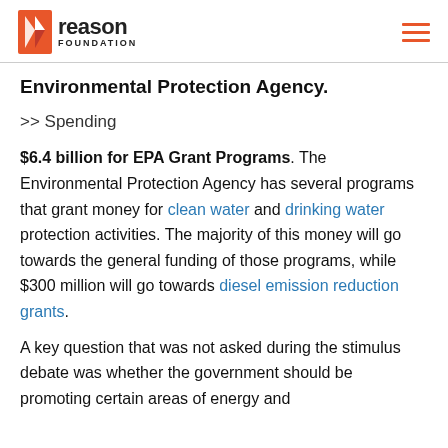Reason Foundation
Environmental Protection Agency.
>> Spending
$6.4 billion for EPA Grant Programs. The Environmental Protection Agency has several programs that grant money for clean water and drinking water protection activities. The majority of this money will go towards the general funding of those programs, while $300 million will go towards diesel emission reduction grants.
A key question that was not asked during the stimulus debate was whether the government should be promoting certain areas of energy and